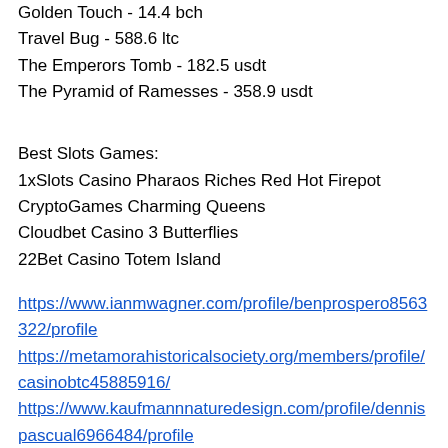Golden Touch - 14.4 bch
Travel Bug - 588.6 ltc
The Emperors Tomb - 182.5 usdt
The Pyramid of Ramesses - 358.9 usdt
Best Slots Games:
1xSlots Casino Pharaos Riches Red Hot Firepot
CryptoGames Charming Queens
Cloudbet Casino 3 Butterflies
22Bet Casino Totem Island
https://www.ianmwagner.com/profile/benprospero8563322/profile
https://metamorahistoricalsociety.org/members/profile/casinobtc45885916/
https://www.kaufmannnaturedesign.com/profile/dennispascual6966484/profile
http://newzaaj.com/2022/05/29/can-you-count-cards-on-online-blackjack-club-world-mobile-casino/